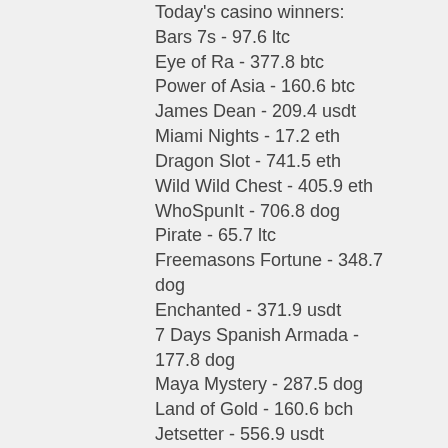Today's casino winners:
Bars 7s - 97.6 ltc
Eye of Ra - 377.8 btc
Power of Asia - 160.6 btc
James Dean - 209.4 usdt
Miami Nights - 17.2 eth
Dragon Slot - 741.5 eth
Wild Wild Chest - 405.9 eth
WhoSpunIt - 706.8 dog
Pirate - 65.7 ltc
Freemasons Fortune - 348.7 dog
Enchanted - 371.9 usdt
7 Days Spanish Armada - 177.8 dog
Maya Mystery - 287.5 dog
Land of Gold - 160.6 bch
Jetsetter - 556.9 usdt
Videoslots, card and board games:
Betchan Casino Go Bananas
Bspin.io Casino Treasure Hill
Mars Casino Xmas Joker